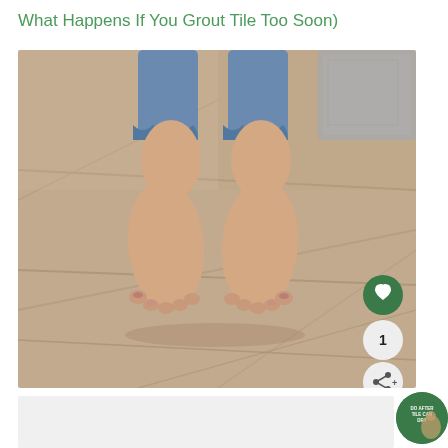What Happens If You Grout Tile Too Soon)
[Figure (photo): Child's bare feet standing on large format tile floor with grout lines visible. Child is wearing blue denim cropped pants with ruffled cuffs. A gray mat is partially visible in the top right corner. An overlay shows a heart icon button (green circle), a count badge showing '1', and a share icon button.]
[Figure (other): Small green circular badge at bottom right of page, partially cut off, appears to show a logo or icon with small white text.]